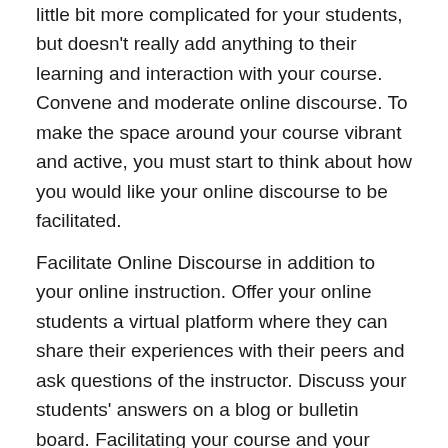little bit more complicated for your students, but doesn't really add anything to their learning and interaction with your course. Convene and moderate online discourse. To make the space around your course vibrant and active, you must start to think about how you would like your online discourse to be facilitated.
Facilitate Online Discourse in addition to your online instruction. Offer your online students a virtual platform where they can share their experiences with their peers and ask questions of the instructor. Discuss your students' answers on a blog or bulletin board. Facilitating your course and your students' online dialogue involves creating a welcoming and supportive environment for student feedback.